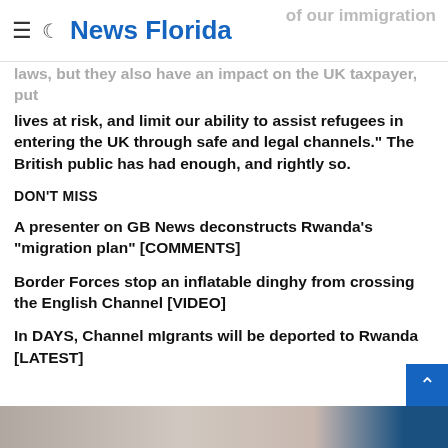News Florida
laws, but they also have an impact on the UK taxpayer, put lives at risk, and limit our ability to assist refugees in entering the UK through safe and legal channels.” The British public has had enough, and rightly so.
DON’T MISS
A presenter on GB News deconstructs Rwanda’s “migration plan” [COMMENTS]
Border Forces stop an inflatable dinghy from crossing the English Channel [VIDEO]
In DAYS, Channel mIgrants will be deported to Rwanda [LATEST]
[Figure (photo): Partial photo strip at bottom of page, showing cropped image of people]